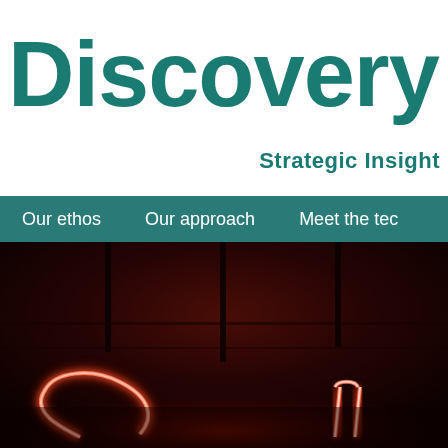Discovery
Strategic Insight
Our ethos   Our approach   Meet the tec
[Figure (photo): Dark room photograph with glowing red/pink neon sign letters visible against a dark reddish ceiling background with ceiling panels/lights]